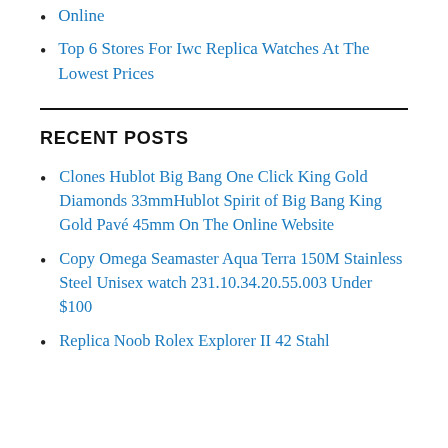Online
Top 6 Stores For Iwc Replica Watches At The Lowest Prices
RECENT POSTS
Clones Hublot Big Bang One Click King Gold Diamonds 33mmHublot Spirit of Big Bang King Gold Pavé 45mm On The Online Website
Copy Omega Seamaster Aqua Terra 150M Stainless Steel Unisex watch 231.10.34.20.55.003 Under $100
Replica Noob Rolex Explorer II 42 Stahl